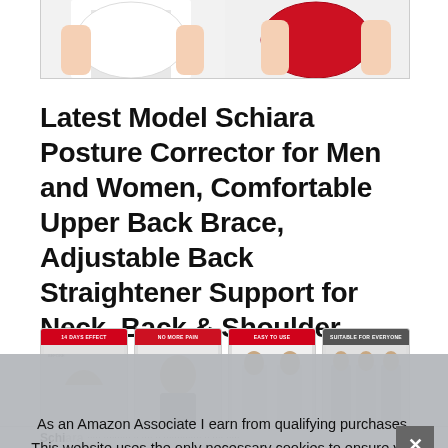[Figure (photo): Cropped photo showing two people wearing posture corrector braces — one in white shirt, one in red top — torso level view]
Latest Model Schiara Posture Corrector for Men and Women, Comfortable Upper Back Brace, Adjustable Back Straightener Support for Neck, Back & Shoulder
[Figure (photo): Row of four product thumbnail images: 1) '14 DAYS EFFECT' red banner with before/after image, 2) 'NO MORE PAIN' with person image, 3) 'EASY TO USE' red banner with product usage image, 4) 'SUITABLE FOR EVERYONE' with gray banner]
As an Amazon Associate I earn from qualifying purchases. This website uses the only necessary cookies to ensure you get the best experience on our website. More information
Schiara...